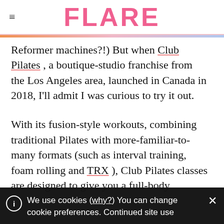FLARE
Reformer machines?!) But when Club Pilates , a boutique-studio franchise from the Los Angeles area, launched in Canada in 2018, I'll admit I was curious to try it out.
With its fusion-style workouts, combining traditional Pilates with more-familiar-to-many formats (such as interval training, foam rolling and TRX ), Club Pilates classes are designed to give you a full-body
We use cookies (why?) You can change cookie preferences. Continued site use